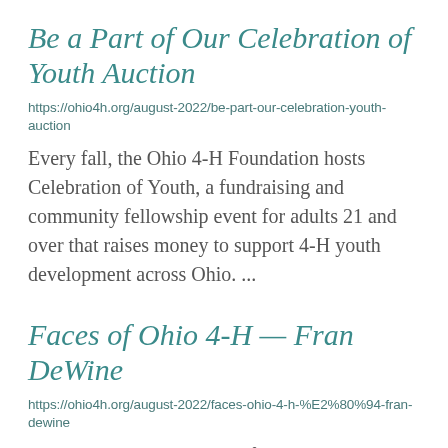Be a Part of Our Celebration of Youth Auction
https://ohio4h.org/august-2022/be-part-our-celebration-youth-auction
Every fall, the Ohio 4-H Foundation hosts Celebration of Youth, a fundraising and community fellowship event for adults 21 and over that raises money to support 4-H youth development across Ohio. ...
Faces of Ohio 4-H — Fran DeWine
https://ohio4h.org/august-2022/faces-ohio-4-h-%E2%80%94-fran-dewine
Over the years, thousands of young people have taken part in the Ohio 4-H program...